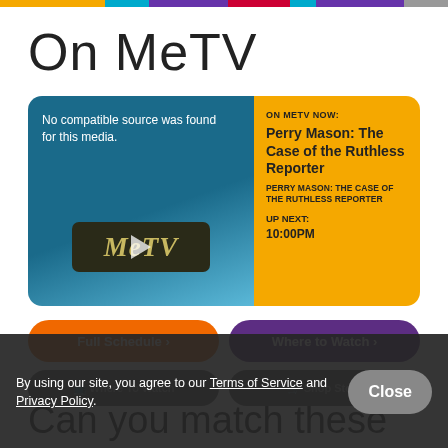On MeTV
[Figure (screenshot): MeTV video player showing 'No compatible source was found for this media.' with MeTV logo and play button on a blue gradient background. Right panel in orange shows 'ON METV NOW: Perry Mason: The Case of the Ruthless Reporter' and 'UP NEXT: 10:00PM']
Full Schedule ‣
Where to Watch ‣
By using our site, you agree to our Terms of Service and Privacy Policy.
Close
Can you match these